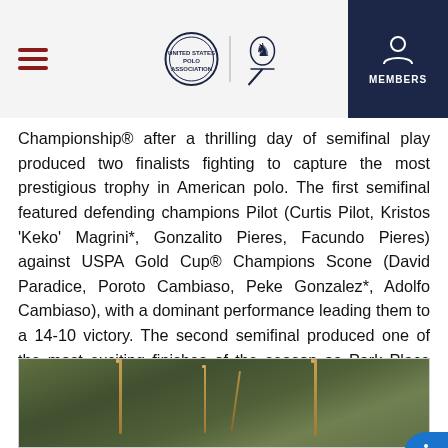USPA logos and MEMBERS navigation
Championship® after a thrilling day of semifinal play produced two finalists fighting to capture the most prestigious trophy in American polo. The first semifinal featured defending champions Pilot (Curtis Pilot, Kristos 'Keko' Magrini*, Gonzalito Pieres, Facundo Pieres) against USPA Gold Cup® Champions Scone (David Paradice, Poroto Cambiaso, Peke Gonzalez*, Adolfo Cambiaso), with a dominant performance leading them to a 14-10 victory. The second semifinal produced one of the most exciting finishes of the season as Park Place (Andrey Borodin, Juan Britos, Hilario Ulloa, Matt Coppola*) scored five unanswered goals in the final chukker to shock La Indiana (Nico Escobar*, Jeff Hall, Polito Pieres, Michael Bickford) 14-13 and advance to the U.S. Open Polo Championship® Final.
[Figure (photo): Polo mallets/sticks standing upright in the ground against a green outdoor background]